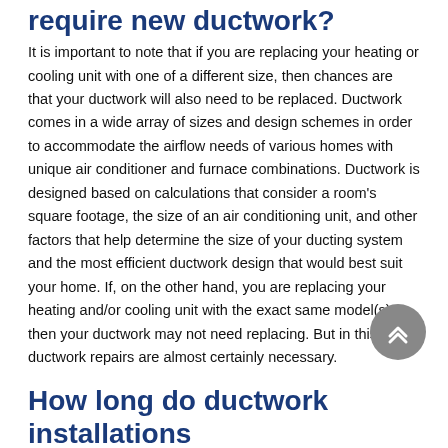require new ductwork?
It is important to note that if you are replacing your heating or cooling unit with one of a different size, then chances are that your ductwork will also need to be replaced. Ductwork comes in a wide array of sizes and design schemes in order to accommodate the airflow needs of various homes with unique air conditioner and furnace combinations. Ductwork is designed based on calculations that consider a room's square footage, the size of an air conditioning unit, and other factors that help determine the size of your ducting system and the most efficient ductwork design that would best suit your home. If, on the other hand, you are replacing your heating and/or cooling unit with the exact same model(s), then your ductwork may not need replacing. But in this case, ductwork repairs are almost certainly necessary.
How long do ductwork installations